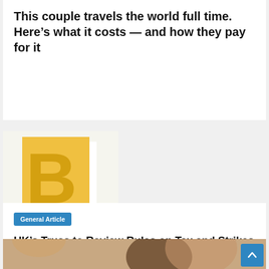This couple travels the world full time. Here's what it costs — and how they pay for it
[Figure (logo): Yellow square with bold yellow B letter logo on light background]
General Article
UK's Truss to Review Rules on Tax and Strikes
[Figure (photo): Partial photo of a smiling couple, man with glasses and woman with blonde hair]